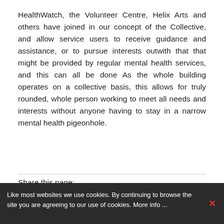HealthWatch, the Volunteer Centre, Helix Arts and others have joined in our concept of the Collective, and allow service users to receive guidance and assistance, or to pursue interests outwith that that might be provided by regular mental health services, and this can all be done As the whole building operates on a collective basis, this allows for truly rounded, whole person working to meet all needs and interests without anyone having to stay in a narrow mental health pigeonhole.
Share this page:
[Figure (infographic): Social share buttons: Facebook (f), Twitter (bird), LinkedIn (in), and a plus (+) button, all in orange/amber square buttons.]
Like most websites we use cookies. By continuing to browse the site you are agreeing to our use of cookies. More info ...